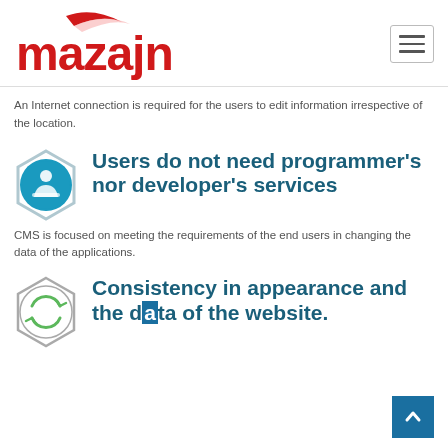[Figure (logo): Mazajnet logo with red swoosh above the text and red brand name 'mazajnet']
An Internet connection is required for the users to edit information irrespective of the location.
Users do not need programmer's nor developer's services
CMS is focused on meeting the requirements of the end users in changing the data of the applications.
Consistency in appearance and the data of the website.